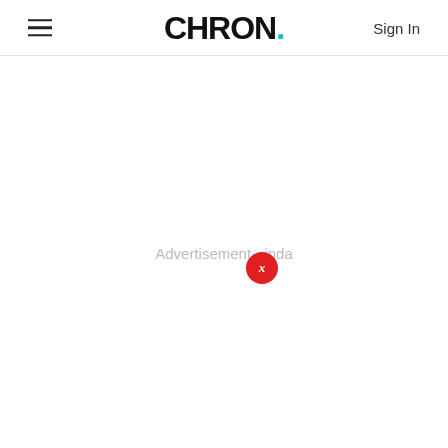CHRON. Sign In
Advertisement - inda
[Figure (other): Red circular close/dismiss button with an X label, used to close an advertisement overlay]